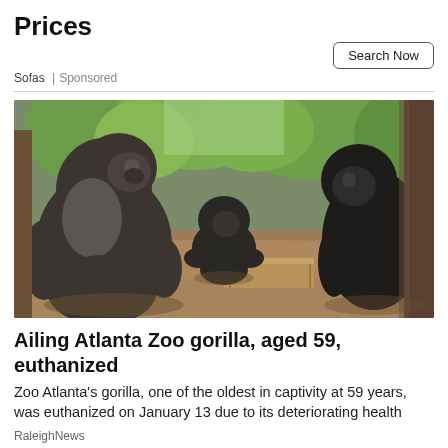Prices
Sofas | Sponsored
Search Now
[Figure (photo): Three gorillas in an outdoor zoo enclosure. A large silverback gorilla sits on the left, a gorilla crouches in the center background, and another gorilla stands on the right. The background shows trees and a dirt ground.]
Ailing Atlanta Zoo gorilla, aged 59, euthanized
Zoo Atlanta's gorilla, one of the oldest in captivity at 59 years, was euthanized on January 13 due to its deteriorating health
RaleighNews